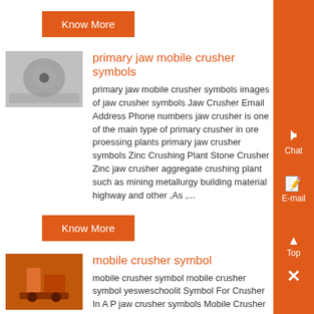Know More
[Figure (photo): Thumbnail image of jaw crusher / mechanical part]
primary jaw mobile crusher symbols
primary jaw mobile crusher symbols images of jaw crusher symbols Jaw Crusher Email Address Phone numbers jaw crusher is one of the main type of primary crusher in ore proessing plants primary jaw crusher symbols Zinc Crushing Plant Stone Crusher Zinc jaw crusher aggregate crushing plant such as mining metallurgy building material highway and other ,As ,...
Know More
[Figure (photo): Thumbnail image of mobile crusher / industrial equipment in orange]
mobile crusher symbol
mobile crusher symbol mobile crusher symbol yesweschoolit Symbol For Crusher In A P jaw crusher symbols Mobile Crusher Manufacturer Jaw Crusher Repair and Overhaul Models 2044 and 3042 Read and fully understand the precautions contained on the konw more p